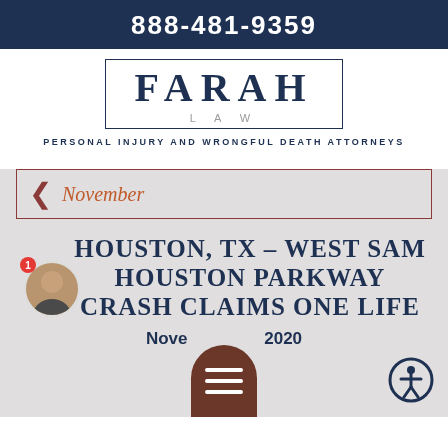888-481-9359
[Figure (logo): Farah Law logo — FARAH in large serif letters, LAW below in spaced caps, tagline PERSONAL INJURY AND WRONGFUL DEATH ATTORNEYS]
November
Houston, TX – West Sam Houston Parkway Crash Claims One Life
November 2020